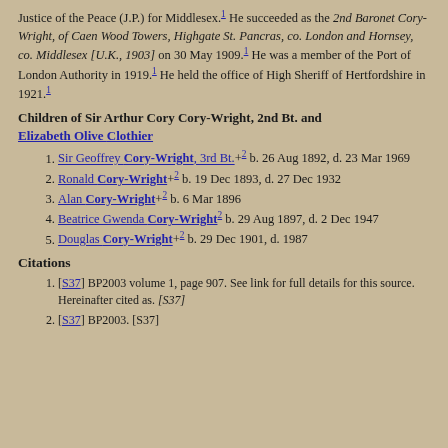Justice of the Peace (J.P.) for Middlesex.¹ He succeeded as the 2nd Baronet Cory-Wright, of Caen Wood Towers, Highgate St. Pancras, co. London and Hornsey, co. Middlesex [U.K., 1903] on 30 May 1909.¹ He was a member of the Port of London Authority in 1919.¹ He held the office of High Sheriff of Hertfordshire in 1921.¹
Children of Sir Arthur Cory Cory-Wright, 2nd Bt. and Elizabeth Olive Clothier
Sir Geoffrey Cory-Wright, 3rd Bt.+² b. 26 Aug 1892, d. 23 Mar 1969
Ronald Cory-Wright+² b. 19 Dec 1893, d. 27 Dec 1932
Alan Cory-Wright+² b. 6 Mar 1896
Beatrice Gwenda Cory-Wright² b. 29 Aug 1897, d. 2 Dec 1947
Douglas Cory-Wright+² b. 29 Dec 1901, d. 1987
Citations
[S37] BP2003 volume 1, page 907. See link for full details for this source. Hereinafter cited as. [S37]
[S37] BP2003. [S37]